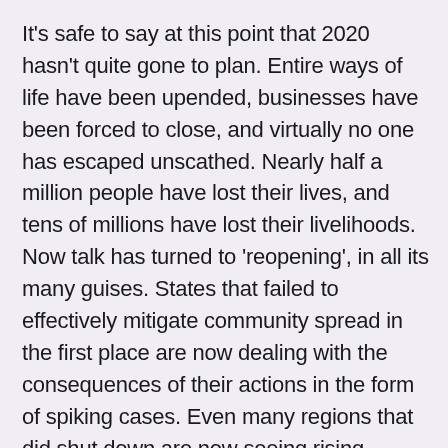It's safe to say at this point that 2020 hasn't quite gone to plan. Entire ways of life have been upended, businesses have been forced to close, and virtually no one has escaped unscathed. Nearly half a million people have lost their lives, and tens of millions have lost their livelihoods. Now talk has turned to 'reopening', in all its many guises. States that failed to effectively mitigate community spread in the first place are now dealing with the consequences of their actions in the form of spiking cases. Even many regions that did shut down are now seeing rising infection rates. Yet many businesses are plowing full-force towards 'reopening' and getting back to 'normal'. This contradiction has placed HR departments in a precarious position.